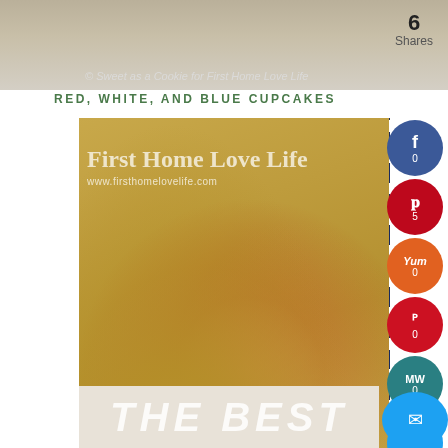[Figure (photo): Top partial view of a bowl of chicken noodle soup with watermark, striped napkin background. Copyright text: © Sweet as a Cookie for First Home Love Life]
© Sweet as a Cookie for First Home Love Life
6
Shares
RED, WHITE, AND BLUE CUPCAKES
[Figure (photo): Bowl of chicken noodle soup with egg noodles, carrots, celery, chicken pieces in broth. Watermark reads 'First Home Love Life www.firsthomelovelife.com'. Blue and white striped napkin in background. Spoon resting in bowl.]
First Home Love Life
www.firsthomelovelife.com
0
5
0
0
0
0
0
0
THE BEST